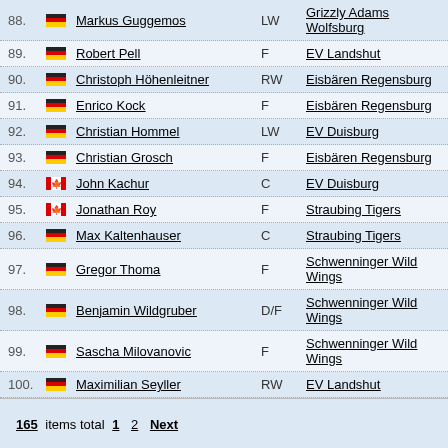| # | Flag | Name | Pos | Team |
| --- | --- | --- | --- | --- |
| 88. | DE | Markus Guggemos | LW | Grizzly Adams Wolfsburg |
| 89. | DE | Robert Pell | F | EV Landshut |
| 90. | DE | Christoph Höhenleitner | RW | Eisbären Regensburg |
| 91. | DE | Enrico Kock | F | Eisbären Regensburg |
| 92. | DE | Christian Hommel | LW | EV Duisburg |
| 93. | DE | Christian Grosch | F | Eisbären Regensburg |
| 94. | CA | John Kachur | C | EV Duisburg |
| 95. | CA | Jonathan Roy | F | Straubing Tigers |
| 96. | DE | Max Kaltenhauser | C | Straubing Tigers |
| 97. | DE | Gregor Thoma | F | Schwenninger Wild Wings |
| 98. | DE | Benjamin Wildgruber | D/F | Schwenninger Wild Wings |
| 99. | DE | Sascha Milovanovic | F | Schwenninger Wild Wings |
| 100. | DE | Maximilian Seyller | RW | EV Landshut |
165 items total 1 2 Next